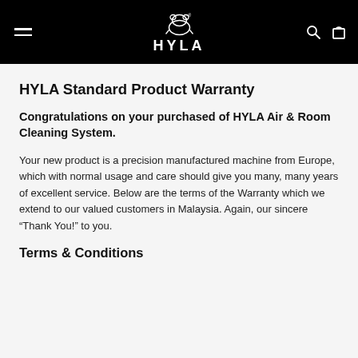HYLA (logo with frog icon)
HYLA Standard Product Warranty
Congratulations on your purchased of HYLA Air & Room Cleaning System.
Your new product is a precision manufactured machine from Europe, which with normal usage and care should give you many, many years of excellent service. Below are the terms of the Warranty which we extend to our valued customers in Malaysia. Again, our sincere “Thank You!” to you.
Terms & Conditions